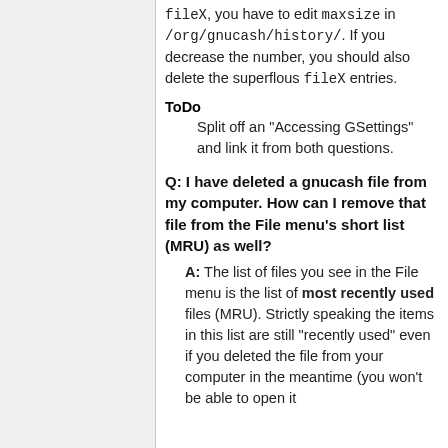fileX, you have to edit maxsize in /org/gnucash/history/. If you decrease the number, you should also delete the superflous fileX entries.
ToDo
Split off an "Accessing GSettings" and link it from both questions.
Q: I have deleted a gnucash file from my computer. How can I remove that file from the File menu's short list (MRU) as well?
A: The list of files you see in the File menu is the list of most recently used files (MRU). Strictly speaking the items in this list are still "recently used" even if you deleted the file from your computer in the meantime (you won't be able to open it